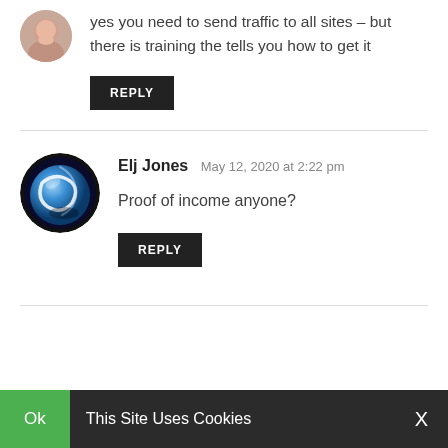[Figure (photo): Partial circular avatar of a person at top of page]
yes you need to send traffic to all sites – but there is training the tells you how to get it
REPLY
[Figure (logo): Circular avatar with blue and black swirl design for user Elj Jones]
Elj Jones May 12, 2020 at 2:22 pm
Proof of income anyone?
REPLY
Ok  This Site Uses Cookies  X